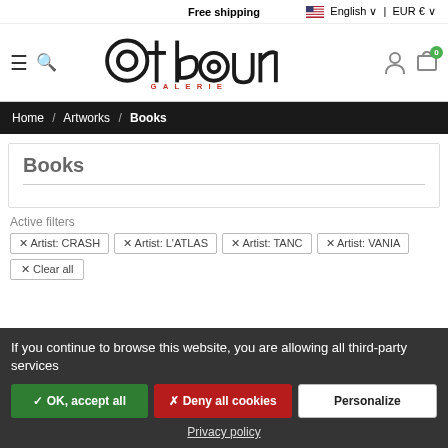Free shipping | English EUR €
[Figure (logo): atboun Galerie logo — stylized art gallery logo with large circular and rectangular letterforms in black, with 'GALERIE' in red underneath]
Home / Artworks / Books
Books
Active filters
✕ Artist: CRASH
✕ Artist: L'ATLAS
✕ Artist: TANC
✕ Artist: VANIA
✕ Clear all
If you continue to browse this website, you are allowing all third-party services
✓ OK, accept all | ✗ Deny all cookies | Personalize
Privacy policy